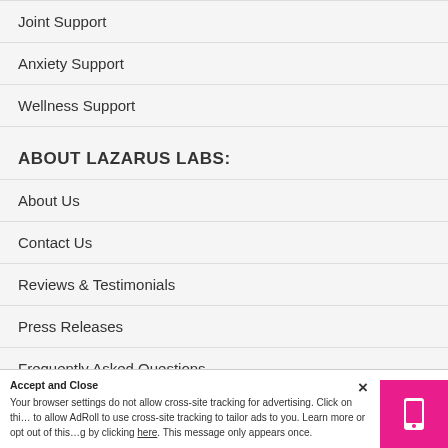Joint Support
Anxiety Support
Wellness Support
ABOUT LAZARUS LABS:
About Us
Contact Us
Reviews & Testimonials
Press Releases
Frequently Asked Questions
Affiliate Program
Accept and Close
Your browser settings do not allow cross-site tracking for advertising. Click on this to allow AdRoll to use cross-site tracking to tailor ads to you. Learn more or opt out of this tracking by clicking here. This message only appears once.